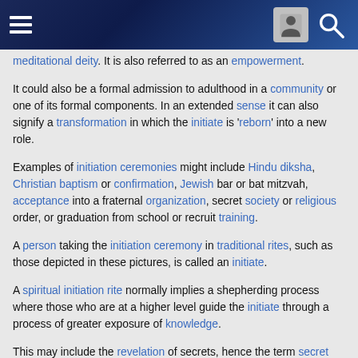[Navigation header with hamburger menu, user icon, and search icon]
meditational deity. It is also referred to as an empowerment.
It could also be a formal admission to adulthood in a community or one of its formal components. In an extended sense it can also signify a transformation in which the initiate is 'reborn' into a new role.
Examples of initiation ceremonies might include Hindu diksha, Christian baptism or confirmation, Jewish bar or bat mitzvah, acceptance into a fraternal organization, secret society or religious order, or graduation from school or recruit training.
A person taking the initiation ceremony in traditional rites, such as those depicted in these pictures, is called an initiate.
A spiritual initiation rite normally implies a shepherding process where those who are at a higher level guide the initiate through a process of greater exposure of knowledge.
This may include the revelation of secrets, hence the term secret society for such organizations,
usually reserved for those at the higher level of understanding